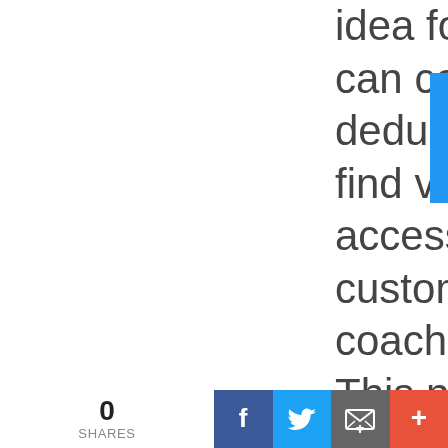idea for their community can collect tax-deductible donations, find volunteers, and access one-on-one customized fundraising coaching on ioby.org. This national nonprofit crowdfunding platform is designed for projects that make schools and neighborhoods more
0 SHARES | Facebook | Twitter | Email | More